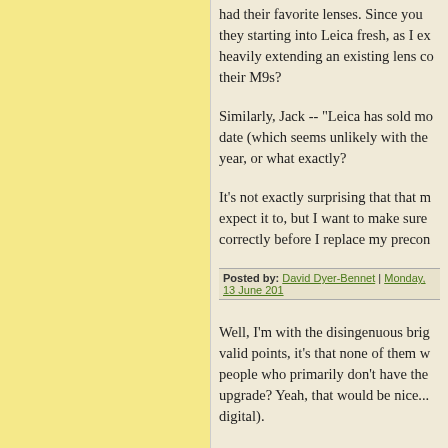had their favorite lenses. Since you they starting into Leica fresh, as I ex heavily extending an existing lens co their M9s?
Similarly, Jack -- "Leica has sold mo date (which seems unlikely with the year, or what exactly?
It's not exactly surprising that that m expect it to, but I want to make sure correctly before I replace my precon
Posted by: David Dyer-Bennet | Monday, 13 June 201
Well, I'm with the disingenuous brig valid points, it's that none of them w people who primarily don't have the upgrade? Yeah, that would be nice... digital).